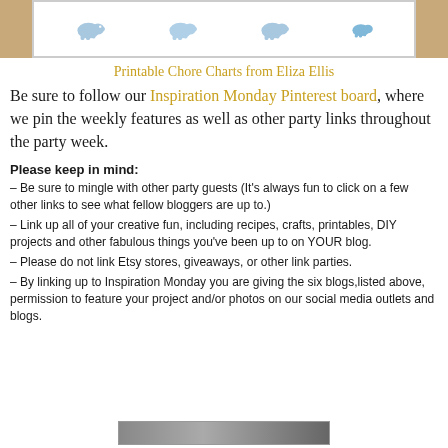[Figure (illustration): Top portion of a printable chore chart with elephant illustrations on a brown wood-textured background]
Printable Chore Charts from Eliza Ellis
Be sure to follow our Inspiration Monday Pinterest board, where we pin the weekly features as well as other party links throughout the party week.
Please keep in mind:
– Be sure to mingle with other party guests (It's always fun to click on a few other links to see what fellow bloggers are up to.)
– Link up all of your creative fun, including recipes, crafts, printables, DIY projects and other fabulous things you've been up to on YOUR blog.
– Please do not link Etsy stores, giveaways, or other link parties.
– By linking up to Inspiration Monday you are giving the six blogs,listed above, permission to feature your project and/or photos on our social media outlets and blogs.
[Figure (illustration): Bottom partial image strip showing a blog graphic]